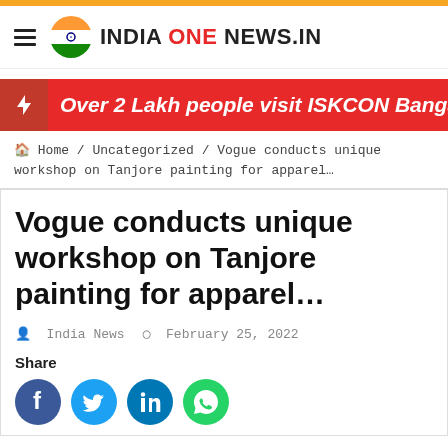INDIA ONE NEWS.IN
Over 2 Lakh people visit ISKCON Bangalore
Home / Uncategorized / Vogue conducts unique workshop on Tanjore painting for apparel…
Vogue conducts unique workshop on Tanjore painting for apparel…
India News   February 25, 2022
Share